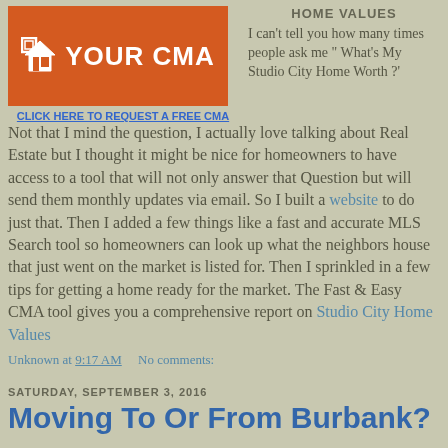[Figure (logo): Orange house/building logo with text YOUR CMA]
CLICK HERE TO REQUEST A FREE CMA
HOME VALUES
I can't tell you how many times people ask me " What's My Studio City Home Worth ?' Not that I mind the question, I actually love talking about Real Estate but I thought it might be nice for homeowners to have access to a tool that will not only answer that Question but will send them monthly updates via email. So I built a website to do just that. Then I added a few things like a fast and accurate MLS Search tool so homeowners can look up what the neighbors house that just went on the market is listed for. Then I sprinkled in a few tips for getting a home ready for the market. The Fast & Easy CMA tool gives you a comprehensive report on Studio City Home Values
Unknown at 9:17 AM    No comments:
SATURDAY, SEPTEMBER 3, 2016
Moving To Or From Burbank?